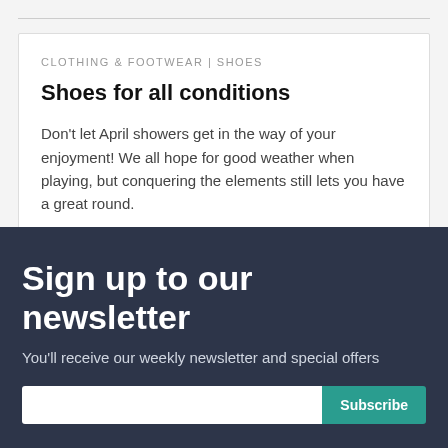CLOTHING & FOOTWEAR | SHOES
Shoes for all conditions
Don't let April showers get in the way of your enjoyment! We all hope for good weather when playing, but conquering the elements still lets you have a great round.
Sign up to our newsletter
You'll receive our weekly newsletter and special offers